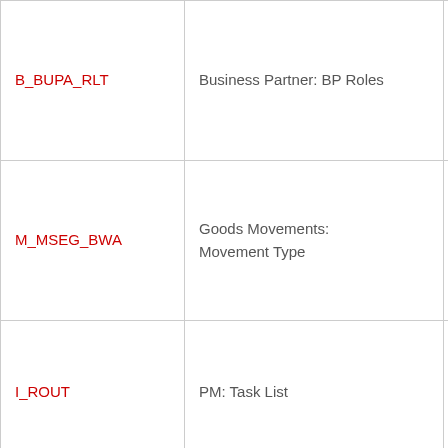| Authorization Object | Description | Notes |
| --- | --- | --- |
| B_BUPA_RLT | Business Partner: BP Roles | Object appears together in 82% of cases |
| M_MSEG_BWA | Goods Movements: Movement Type | Object appears together in 81% of cases |
| I_ROUT | PM: Task List | Object appears together in 80% of cases |